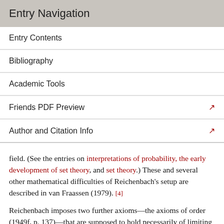Entry Navigation
Entry Contents
Bibliography
Academic Tools
Friends PDF Preview
Author and Citation Info
field. (See the entries on interpretations of probability, the early development of set theory, and set theory.) These and several other mathematical difficulties of Reichenbach's setup are described in van Fraassen (1979). [4]
Reichenbach imposes two further axioms—the axioms of order (1949f, p. 137)—that are supposed to hold necessarily of limiting frequencies for infinite time series. One is trivial, essentially asserting that a conditional frequency on lags (Reichenbach's term for lags is "phases") of a constant "variable" can always be replaced…